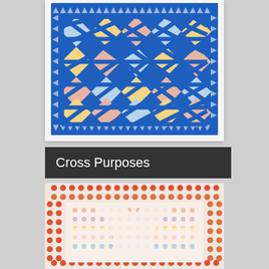[Figure (photo): Photograph of a blue and yellow/pastel geometric quilt with a diamond grid pattern and triangular border on a white background]
Cross Purposes
[Figure (photo): Photograph of a colorful quilt with red/orange dot border pattern and cream/pastel cross or chain pattern in the interior]